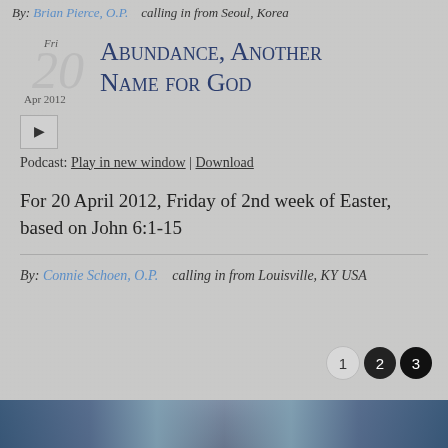By: Brian Pierce, O.P.    calling in from Seoul, Korea
Abundance, Another Name for God
[Figure (other): Audio play button control]
Podcast: Play in new window | Download
For 20 April 2012, Friday of 2nd week of Easter, based on John 6:1-15
By: Connie Schoen, O.P.    calling in from Louisville, KY USA
[Figure (photo): Landscape/nature photo at bottom of page, blue tones]